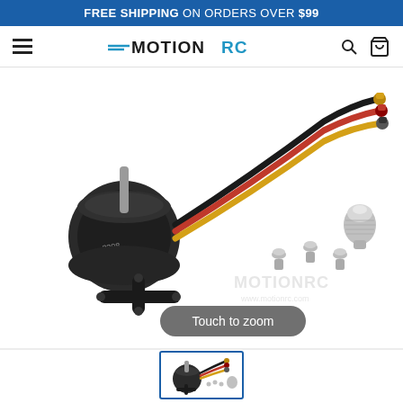FREE SHIPPING ON ORDERS OVER $99
[Figure (logo): MotionRC logo with hamburger menu, search and cart icons in navigation bar]
[Figure (photo): Brushless motor 2208 1370KV with three colored wires (black, red, yellow), mounting cross plate, screws, and prop adapter against white background. Watermark: MotionRC www.motionrc.com. Touch to zoom overlay button.]
[Figure (photo): Thumbnail image of the same brushless motor product set]